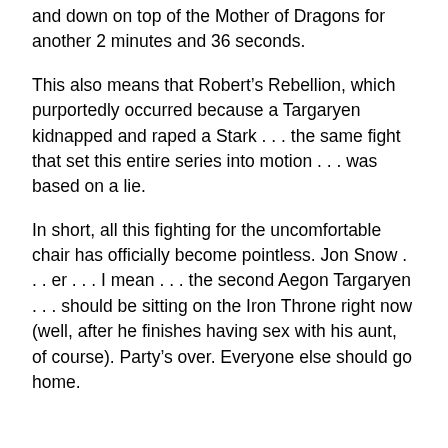and down on top of the Mother of Dragons for another 2 minutes and 36 seconds.
This also means that Robert's Rebellion, which purportedly occurred because a Targaryen kidnapped and raped a Stark . . . the same fight that set this entire series into motion . . . was based on a lie.
In short, all this fighting for the uncomfortable chair has officially become pointless. Jon Snow . . . er . . . I mean . . . the second Aegon Targaryen . . . should be sitting on the Iron Throne right now (well, after he finishes having sex with his aunt, of course). Party's over. Everyone else should go home.